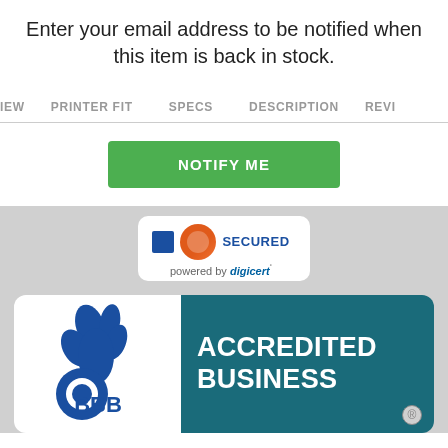Enter your email address to be notified when this item is back in stock.
IEW   PRINTER FIT   SPECS   DESCRIPTION   REVI
[Figure (infographic): Green NOTIFY ME button]
[Figure (logo): DigiCert Secured badge with orange and blue logo, powered by digicert]
[Figure (logo): BBB Accredited Business badge with dark teal background and BBB logo]